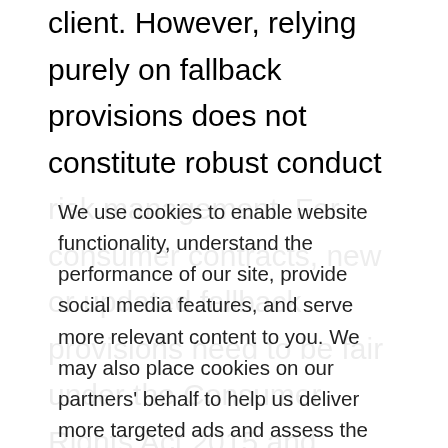client. However, relying purely on fallback provisions does not constitute robust conduct risk management. For consumer contracts, new or updated fallback provisions need to be fair under the Consumer Rights Act 2015 and, ideally, supplemented by supporting communications explaining how these clauses work in
We use cookies to enable website functionality, understand the performance of our site, provide social media features, and serve more relevant content to you. We may also place cookies on our partners’ behalf to help us deliver more targeted ads and assess the performance of these campaigns. For more information please review our Privacy Policy and Cookie Policy
Cookie settings
ACCEPT